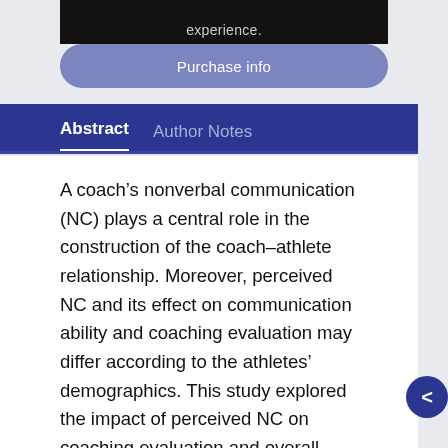experience.
Purchase info
Abstract
Author Notes
A coach’s nonverbal communication (NC) plays a central role in the construction of the coach–athlete relationship. Moreover, perceived NC and its effect on communication ability and coaching evaluation may differ according to the athletes’ demographics. This study explored the impact of perceived NC on coaching evaluation and overall communication among different genders and age groups. The study recruited 233 athletes from five high schools and seven university teams in Japan. The coaches’ NC, communication ability, and coaching evaluations were assessed. Negative and